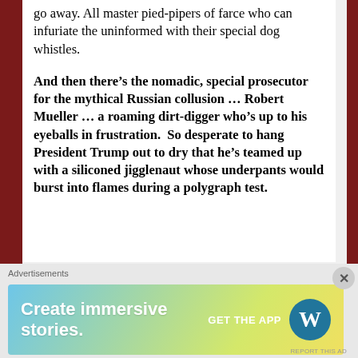go away. All master pied-pipers of farce who can infuriate the uninformed with their special dog whistles.
And then there's the nomadic, special prosecutor for the mythical Russian collusion … Robert Mueller … a roaming dirt-digger who's up to his eyeballs in frustration.  So desperate to hang President Trump out to dry that he's teamed up with a siliconed jigglenaut whose underpants would burst into flames during a polygraph test.
Advertisements
[Figure (other): WordPress advertisement banner: 'Create immersive stories.' with 'GET THE APP' button and WordPress logo]